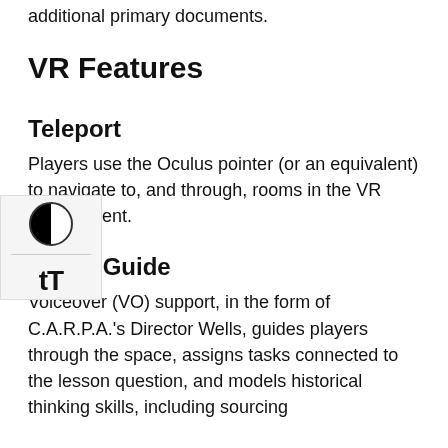additional primary documents.
VR Features
Teleport
Players use the Oculus pointer (or an equivalent) to navigate to, and through, rooms in the VR environment.
Audio Guide
Voiceover (VO) support, in the form of C.A.R.P.A.'s Director Wells, guides players through the space, assigns tasks connected to the lesson question, and models historical thinking skills, including sourcing